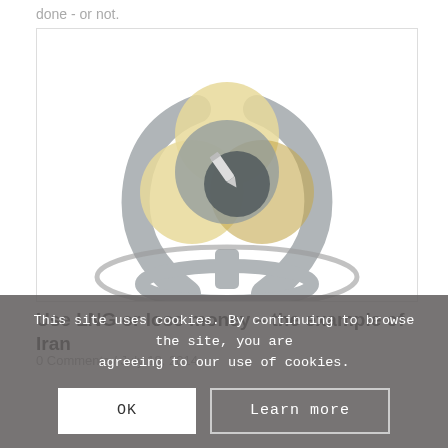done - or not.
[Figure (illustration): A stylized logo/illustration showing a grey figure-like shape with arms raised, holding three overlapping circles (pale yellow/cream and grey tones) with a dark pencil icon in the center circle. An oval swoosh shape wraps around the base.]
Use LNG or lose money – the example of Iran
0 Comments / July 18, 2014
a little...
This site uses cookies. By continuing to browse the site, you are agreeing to our use of cookies.
OK
Learn more